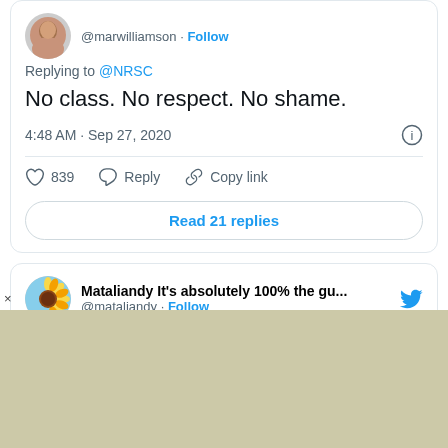[Figure (screenshot): Twitter/X screenshot showing two tweet replies. First tweet by @marwilliamson replying to @NRSC: 'No class. No respect. No shame.' posted 4:48 AM Sep 27, 2020 with 839 likes. Second tweet by @mataliandy replying to @NRSC: '"Notorious" can have either positive or negative connotations. "Notorious RGB"']